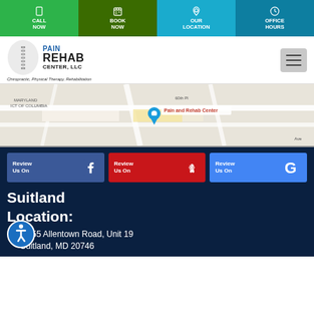CALL NOW | BOOK NOW | OUR LOCATION | OFFICE HOURS
[Figure (logo): Pain Rehab Center LLC logo with spine graphic. Tagline: Chiropractic, Physical Therapy, Rehabilitation]
[Figure (map): Google Maps showing Pain and Rehab Center location near Maryland/District of Columbia border, 60th Pl area]
[Figure (infographic): Three review buttons: Review Us On Facebook (blue), Review Us On Yelp (red), Review Us On Google (blue)]
Suitland Location:
5855 Allentown Road, Unit 19
Suitland, MD 20746